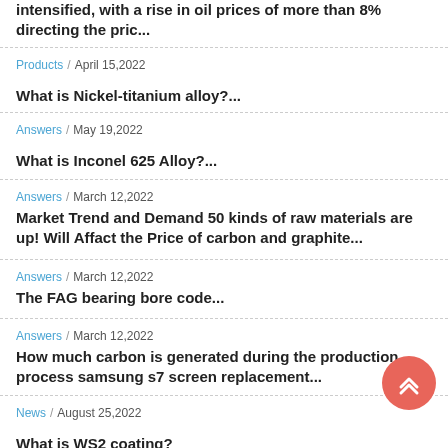intensified, with a rise in oil prices of more than 8% directing the pric...
Products / April 15,2022
What is Nickel-titanium alloy?...
Answers / May 19,2022
What is Inconel 625 Alloy?...
Answers / March 12,2022
Market Trend and Demand 50 kinds of raw materials are up! Will Affact the Price of carbon and graphite...
Answers / March 12,2022
The FAG bearing bore code...
Answers / March 12,2022
How much carbon is generated during the production process samsung s7 screen replacement...
News / August 25,2022
What is WS2 coating?